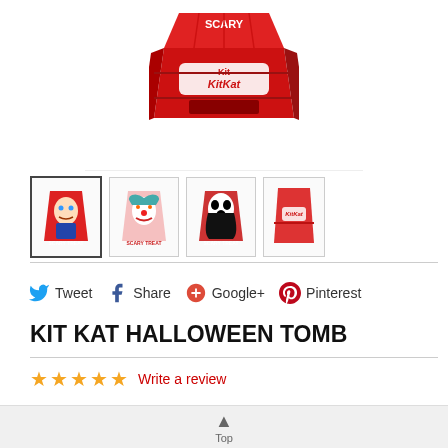[Figure (photo): Kit Kat Halloween Tomb coffin-shaped box product, red with Kit Kat branding, main product image]
[Figure (photo): Thumbnail strip showing 4 coffin box variants: Chucky (selected), Pennywise/IT clown, Ghostface/Scream, and a plain red box]
Tweet  Share  Google+  Pinterest
KIT KAT HALLOWEEN TOMB
★★★★★  Write a review
NESTLE
TOMB WITH 5 BARS